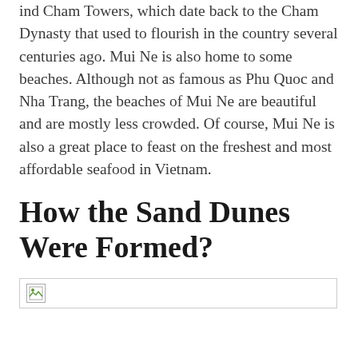ind Cham Towers, which date back to the Cham Dynasty that used to flourish in the country several centuries ago. Mui Ne is also home to some beaches. Although not as famous as Phu Quoc and Nha Trang, the beaches of Mui Ne are beautiful and are mostly less crowded. Of course, Mui Ne is also a great place to feast on the freshest and most affordable seafood in Vietnam.
How the Sand Dunes Were Formed?
[Figure (photo): Broken image placeholder with small icon in top-left corner]